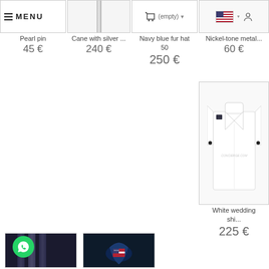[Figure (screenshot): E-commerce product listing page showing multiple product cards with images, names, and prices in euros. Top row: Pearl pin 45€, Cane with silver... 240€, Navy blue fur hat 50 / 250€, Nickel-tone metal... 60€. Below: White wedding shi... 225€ with product image of a white dress shirt. Bottom row: Two product thumbnails - a perfume/cologne product with WhatsApp icon overlay, and a folded navy tie/accessory on dark background.]